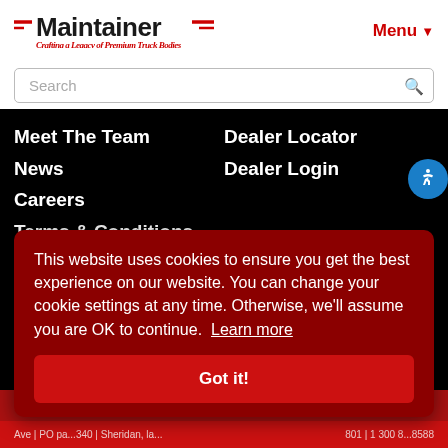[Figure (logo): Maintainer logo with tagline 'Crafting a Legacy of Premium Truck Bodies']
Menu
Search
Meet The Team
Dealer Locator
News
Dealer Login
Careers
Terms & Conditions
PARTS
This website uses cookies to ensure you get the best experience on our website. You can change your cookie settings at any time. Otherwise, we'll assume you are OK to continue. Learn more
Got it!
Ave | PO pa...340 | Sheridan, la... 800 | 1 300 8... 8588